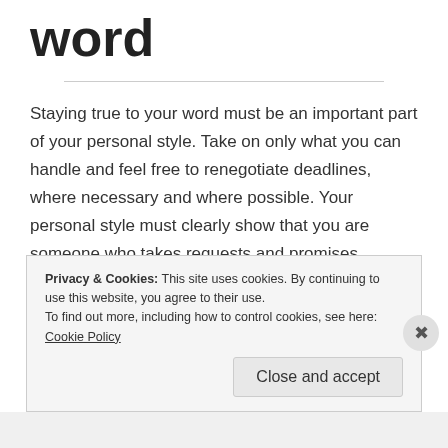word
Staying true to your word must be an important part of your personal style. Take on only what you can handle and feel free to renegotiate deadlines, where necessary and where possible. Your personal style must clearly show that you are someone who takes requests and promises seriously.
Your attitude should be one that if you promised to do
Privacy & Cookies: This site uses cookies. By continuing to use this website, you agree to their use.
To find out more, including how to control cookies, see here: Cookie Policy